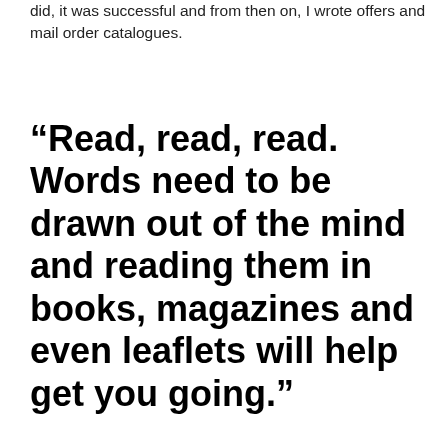did, it was successful and from then on, I wrote offers and mail order catalogues.
“Read, read, read. Words need to be drawn out of the mind and reading them in books, magazines and even leaflets will help get you going.”